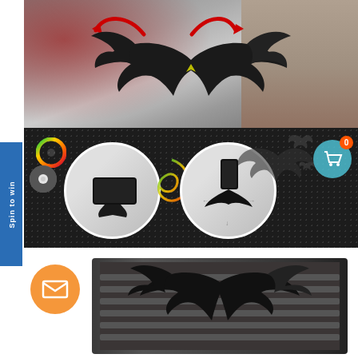[Figure (photo): Batman-themed car vent phone mount product image. Top half shows bat-shaped mount on a car vent with red glow arrows. Bottom half shows dark background with bat silhouettes, two circular inset photos of phone mounting, cart icon, CD icon, and text 'car vent BAT MOUNT'.]
[Figure (photo): Bottom cropped photo showing black bat-shaped car vent mount product close-up from slightly different angle.]